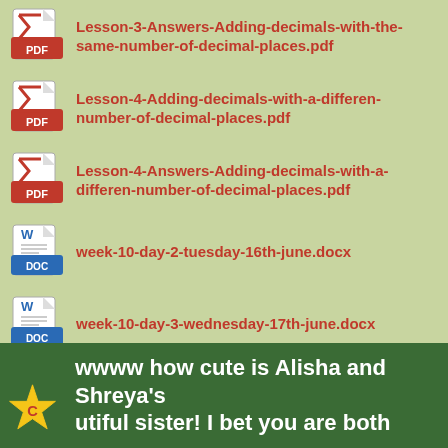Lesson-3-Answers-Adding-decimals-with-the-same-number-of-decimal-places.pdf
Lesson-4-Adding-decimals-with-a-differen-number-of-decimal-places.pdf
Lesson-4-Answers-Adding-decimals-with-a-differen-number-of-decimal-places.pdf
week-10-day-2-tuesday-16th-june.docx
week-10-day-3-wednesday-17th-june.docx
week-10-day-4-thursday-18th June.docx
week-10-day-5-friday-19th-june.docx
wwww how cute is Alisha and Shreya's utiful sister! I bet you are both